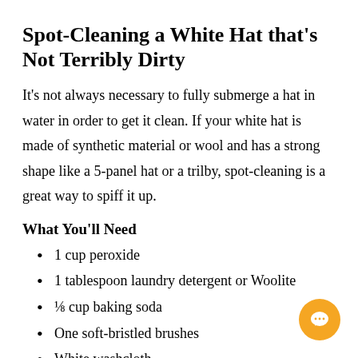Spot-Cleaning a White Hat that's Not Terribly Dirty
It's not always necessary to fully submerge a hat in water in order to get it clean. If your white hat is made of synthetic material or wool and has a strong shape like a 5-panel hat or a trilby, spot-cleaning is a great way to spiff it up.
What You'll Need
1 cup peroxide
1 tablespoon laundry detergent or Woolite
⅛ cup baking soda
One soft-bristled brushes
White washcloth